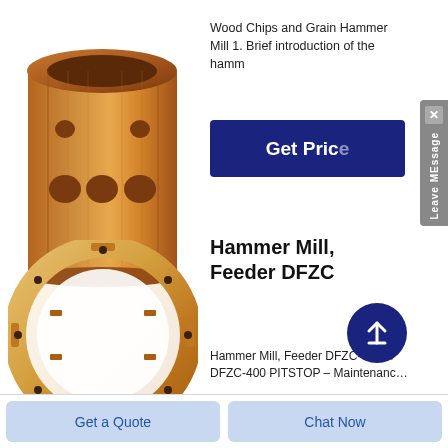[Figure (photo): Copper/bronze cylindrical bushing with circular holes along the sides, used for hammer mill]
Wood Chips and Grain Hammer Mill 1. Brief introduction of the hamm
[Figure (other): Blue 'Get Price' button]
[Figure (photo): Copper/bronze segmented ring component — Hammer Mill Feeder DFZC part]
Hammer Mill, Feeder DFZC
Hammer Mill, Feeder DFZC-0655 / DFZC-400 PITSTOP – Maintenanc…
[Figure (other): Blue 'Get Price' button bottom]
Get a Quote
Chat Now